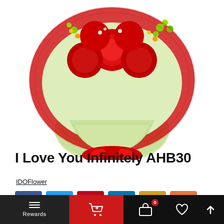[Figure (photo): Flower bouquet with red roses wrapped in red mesh netting and light green paper, tied with red ribbons at the base, on white background]
I Love You Infinitely AHB30
IDOFlower
[Figure (infographic): Social share buttons: Facebook (blue), Twitter (light blue), Pinterest (red), LinkedIn (blue), Star/Favorites (gold), Plus/More (orange)]
Rewards | Cart | Bag (0) | Heart | Up arrow